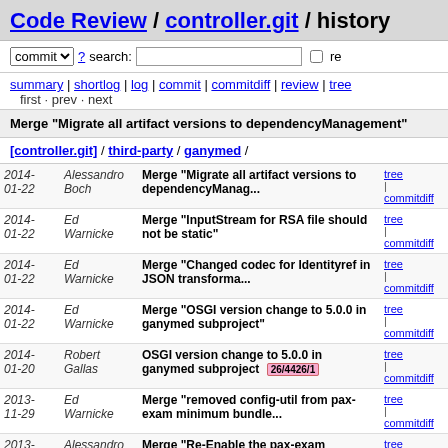Code Review / controller.git / history
commit ? search: re
summary | shortlog | log | commit | commitdiff | review | tree
first · prev · next
Merge "Migrate all artifact versions to dependencyManagement"
[controller.git] / third-party / ganymed /
| date | author | message | links |
| --- | --- | --- | --- |
| 2014-01-22 | Alessandro Boch | Merge "Migrate all artifact versions to dependencyManag... | tree | commitdiff |
| 2014-01-22 | Ed Warnicke | Merge "InputStream for RSA file should not be static" | tree | commitdiff |
| 2014-01-22 | Ed Warnicke | Merge "Changed codec for Identityref in JSON transforma..." | tree | commitdiff |
| 2014-01-22 | Ed Warnicke | Merge "OSGI version change to 5.0.0 in ganymed subproject" | tree | commitdiff |
| 2014-01-20 | Robert Gallas | OSGI version change to 5.0.0 in ganymed subproject 26/4426/1 | tree | commitdiff |
| 2013-11-29 | Ed Warnicke | Merge "removed config-util from pax-exam minimum bundle..." | tree | commitdiff |
| 2013-11-28 | Alessandro Boch | Merge "Re-Enable the pax-exam execution in Eclipse" | tree | commitdiff |
| 2013-11-29 | Ed Warnicke | Merge "Fixed handshake issues with SSL Netconf client!" | tree | commitdiff |